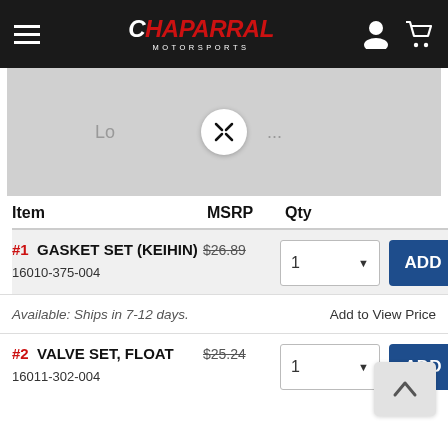Chaparral Motorsports
[Figure (screenshot): Product image placeholder with expand/zoom button, showing loading state]
| Item | MSRP | Qty |
| --- | --- | --- |
| #1 GASKET SET (KEIHIN)
16010-375-004 | $26.89 | 1 |
| #2 VALVE SET, FLOAT
16011-302-004 | $25.24 | 1 |
Available: Ships in 7-12 days.
Add to View Price